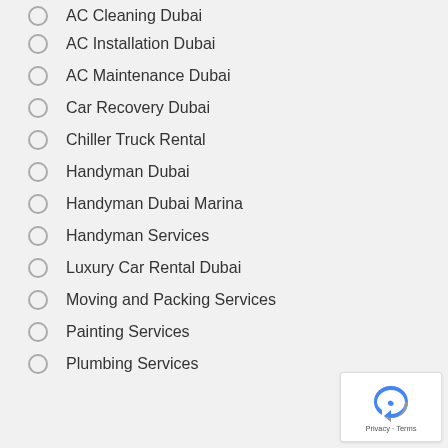AC Cleaning Dubai
AC Installation Dubai
AC Maintenance Dubai
Car Recovery Dubai
Chiller Truck Rental
Handyman Dubai
Handyman Dubai Marina
Handyman Services
Luxury Car Rental Dubai
Moving and Packing Services
Painting Services
Plumbing Services